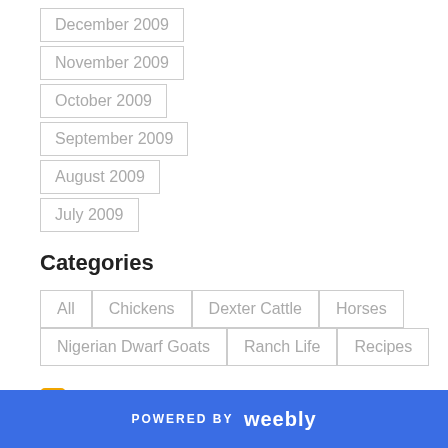December 2009
November 2009
October 2009
September 2009
August 2009
July 2009
Categories
All
Chickens
Dexter Cattle
Horses
Nigerian Dwarf Goats
Ranch Life
Recipes
RSS Feed
POWERED BY weebly